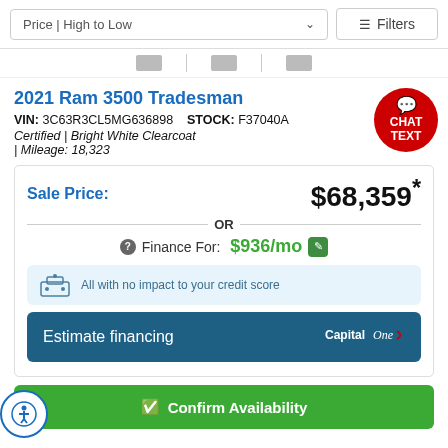Price | High to Low   Filters
2021 Ram 3500 Tradesman
VIN: 3C63R3CL5MG636898   STOCK: F37040A
Certified | Bright White Clearcoat | Mileage: 18,323
Sale Price: $68,359*
OR
Finance For: $936/mo
All with no impact to your credit score
Estimate financing
Confirm Availability